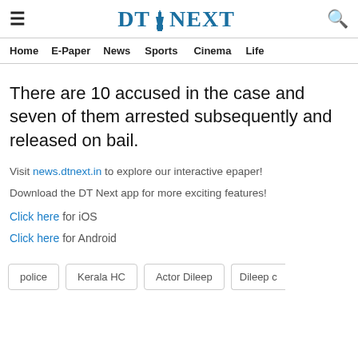≡  DTNEXT  🔍
Home   E-Paper   News   Sports   Cinema   Life
There are 10 accused in the case and seven of them arrested subsequently and released on bail.
Visit news.dtnext.in to explore our interactive epaper!
Download the DT Next app for more exciting features!
Click here for iOS
Click here for Android
police
Kerala HC
Actor Dileep
Dileep c